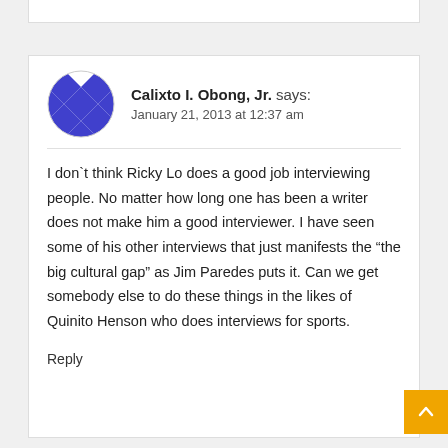[Figure (illustration): Diamond/checkerboard patterned circular avatar in blue and white]
Calixto I. Obong, Jr. says:
January 21, 2013 at 12:37 am
I don`t think Ricky Lo does a good job interviewing people. No matter how long one has been a writer does not make him a good interviewer. I have seen some of his other interviews that just manifests the “the big cultural gap” as Jim Paredes puts it. Can we get somebody else to do these things in the likes of Quinito Henson who does interviews for sports.
Reply